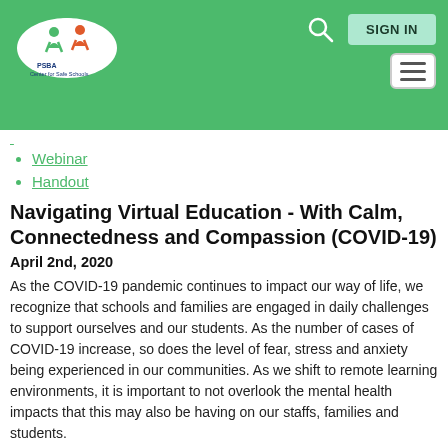PSBA Center for Safe Schools — navigation header with logo, search, SIGN IN, and hamburger menu
Webinar
Handout
Navigating Virtual Education - With Calm, Connectedness and Compassion (COVID-19)
April 2nd, 2020
As the COVID-19 pandemic continues to impact our way of life, we recognize that schools and families are engaged in daily challenges to support ourselves and our students. As the number of cases of COVID-19 increase, so does the level of fear, stress and anxiety being experienced in our communities. As we shift to remote learning environments, it is important to not overlook the mental health impacts that this may also be having on our staffs, families and students.